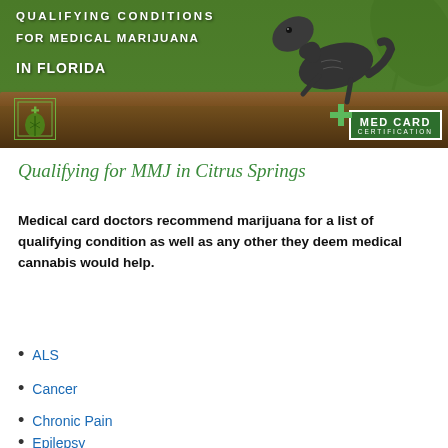[Figure (illustration): Banner image with green background, lizard/gila monster, text 'QUALIFYING CONDITIONS FOR MEDICAL MARIJUANA IN FLORIDA', leaf logo bottom left, MED CARD CERTIFICATION badge bottom right]
Qualifying for MMJ in Citrus Springs
Medical card doctors recommend marijuana for a list of qualifying condition as well as any other they deem medical cannabis would help.
ALS
Cancer
Chronic Pain
Epilepsy